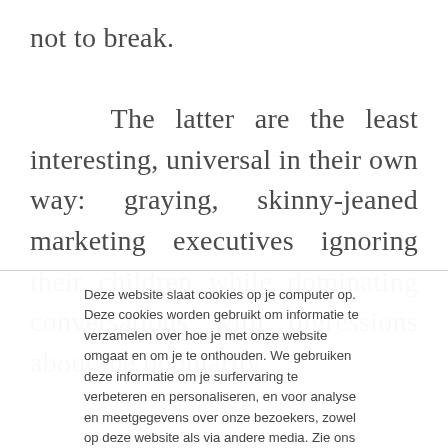not to break.

The latter are the least interesting, universal in their own way: graying, skinny-jeaned marketing executives ignoring their children while dominating conversations with digressions about the popularity
Deze website slaat cookies op je computer op. Deze cookies worden gebruikt om informatie te verzamelen over hoe je met onze website omgaat en om je te onthouden. We gebruiken deze informatie om je surfervaring te verbeteren en personaliseren, en voor analyse en meetgegevens over onze bezoekers, zowel op deze website als via andere media. Zie ons Privacybeleid voor meer informatie over de cookies die we gebruiken.
Accepteren